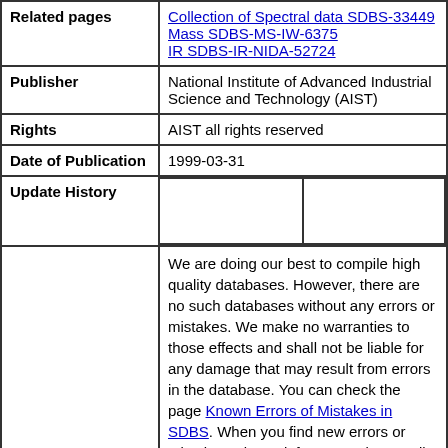| Field | Value |
| --- | --- |
| Related pages | Collection of Spectral data SDBS-33449
Mass SDBS-MS-IW-6375
IR SDBS-IR-NIDA-52724 |
| Publisher | National Institute of Advanced Industrial Science and Technology (AIST) |
| Rights | AIST all rights reserved |
| Date of Publication | 1999-03-31 |
| Update History |  |
|  | We are doing our best to compile high quality databases. However, there are no such databases without any errors or mistakes. We make no warranties to those effects and shall not be liable for any damage that may result from errors in the database. You can check the page Known Errors of Mistakes in SDBS. When you find new errors or mistakes, please inform us using email (see this page for contact details).
  Access to this database is free of charge. However we request visitors to our database not to download more than 50 spectra and/or associated information in a single session. |